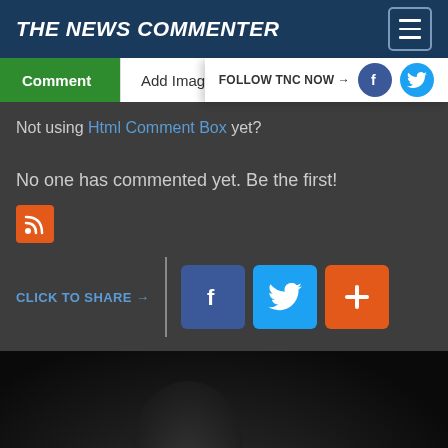THE NEWS COMMENTER
Comment | Add Image
FOLLOW TNC NOW →
Not using Html Comment Box yet?
No one has commented yet. Be the first!
CLICK TO SHARE →
[Figure (screenshot): Dark image area with a faint silhouette of a person in the lower portion]